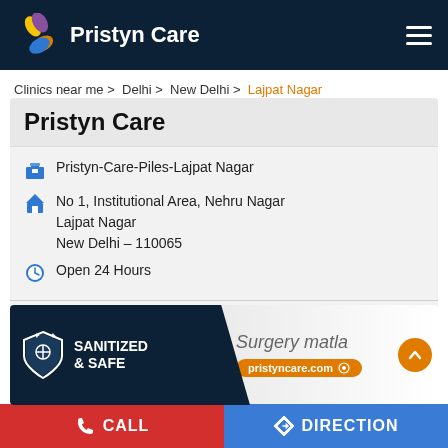[Figure (logo): Pristyn Care logo with colorful petals and white text 'Pristyn Care' on dark navy header]
Clinics near me > Delhi > New Delhi > Lajpat Nagar
Pristyn Care
Pristyn-Care-Piles-Lajpat Nagar
No 1, Institutional Area, Nehru Nagar
Lajpat Nagar
New Delhi – 110065
Open 24 Hours
Surgical
[Figure (infographic): Ad banner: dark navy left side with shield icon and 'SANITIZED & SAFE' text, right side shows doctor image and 'Surgery matla' text with pristyncare.com pill and orange scroll-to-top button]
CALL
DIRECTION